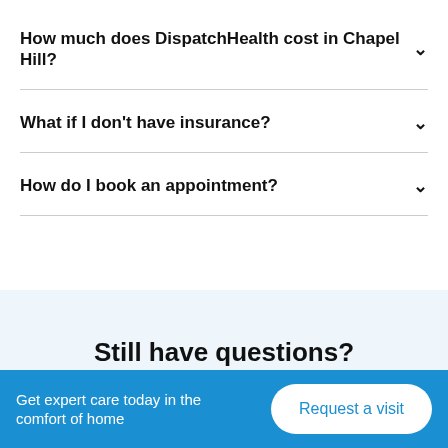How much does DispatchHealth cost in Chapel Hill?
What if I don't have insurance?
How do I book an appointment?
Still have questions?
Get expert care today in the comfort of home
Request a visit